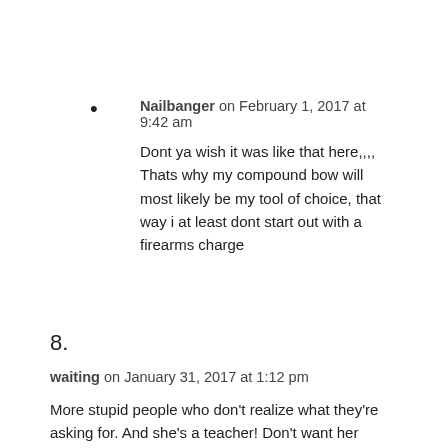Nailbanger on February 1, 2017 at 9:42 am
Dont ya wish it was like that here,,,, Thats why my compound bow will most likely be my tool of choice, that way i at least dont start out with a firearms charge
8.
waiting on January 31, 2017 at 1:12 pm
More stupid people who don’t realize what they’re asking for. And she’s a teacher! Don’t want her teaching any of mine. She sounds like she needs to be confined for a mental evaluation. Where are the authorities?